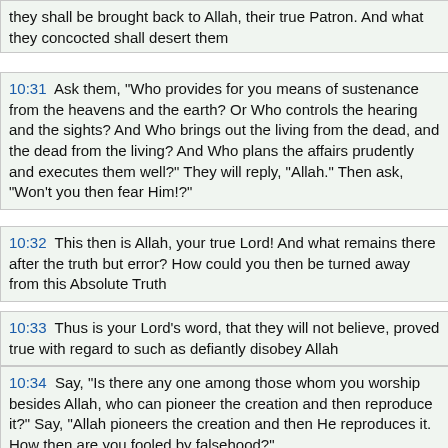they shall be brought back to Allah, their true Patron. And what they concocted shall desert them
10:31  Ask them, "Who provides for you means of sustenance from the heavens and the earth? Or Who controls the hearing and the sights? And Who brings out the living from the dead, and the dead from the living? And Who plans the affairs prudently and executes them well?" They will reply, "Allah." Then ask, "Won't you then fear Him!?"
10:32  This then is Allah, your true Lord! And what remains there after the truth but error? How could you then be turned away from this Absolute Truth
10:33  Thus is your Lord's word, that they will not believe, proved true with regard to such as defiantly disobey Allah
10:34  Say, "Is there any one among those whom you worship besides Allah, who can pioneer the creation and then reproduce it?" Say, "Allah pioneers the creation and then He reproduces it. How then are you fooled by falsehood?"
10:35  Say, "Is there anyone, among those whom you worship besides Allah, who guides to the truth?" Say, "Allah it is Who guides to the truth. Is He then Who guides to the truth more worthy to be followed, or he who himself does not go aright unless he is guided? What's the matter with you? How wrongly